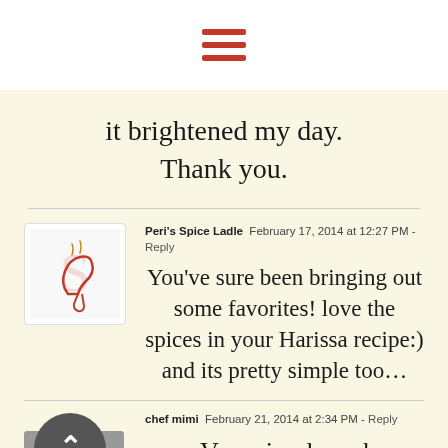[Figure (other): Hamburger menu icon with three horizontal red bars]
it brightened my day. Thank you.
Peri's Spice Ladle  February 17, 2014 at 12:27 PM - Reply
You've sure been bringing out some favorites! love the spices in your Harissa recipe:) and its pretty simple too…
chef mimi  February 21, 2014 at 2:34 PM - Reply
Very simple and